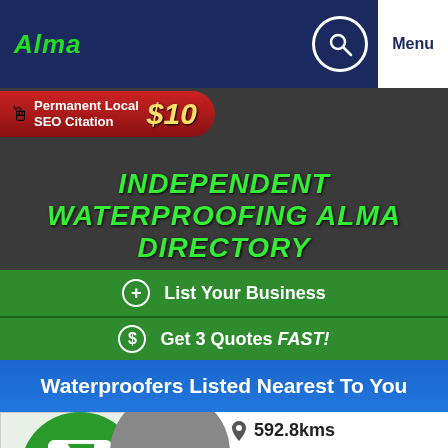Alma
[Figure (infographic): Red banner pill: Permanent Local SEO Citation $10]
INDEPENDENT WATERPROOFING ALMA DIRECTORY
[Figure (logo): Another Find It Near Me .com.au Directory logo]
+ List Your Business
$ Get 3 Quotes FAST!
Waterproofers Listed Nearest To You
592.8kms
[Figure (illustration): Green N logo for a waterproofing business listing, with star rating]